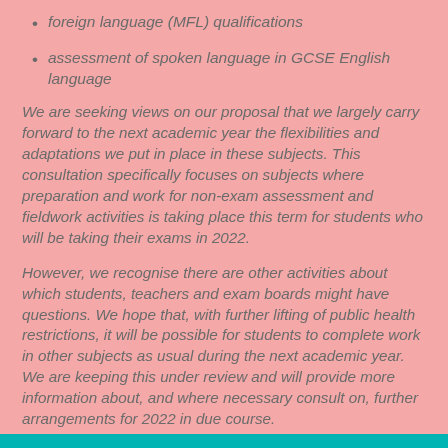foreign language (MFL) qualifications
assessment of spoken language in GCSE English language
We are seeking views on our proposal that we largely carry forward to the next academic year the flexibilities and adaptations we put in place in these subjects. This consultation specifically focuses on subjects where preparation and work for non-exam assessment and fieldwork activities is taking place this term for students who will be taking their exams in 2022.
However, we recognise there are other activities about which students, teachers and exam boards might have questions. We hope that, with further lifting of public health restrictions, it will be possible for students to complete work in other subjects as usual during the next academic year. We are keeping this under review and will provide more information about, and where necessary consult on, further arrangements for 2022 in due course.